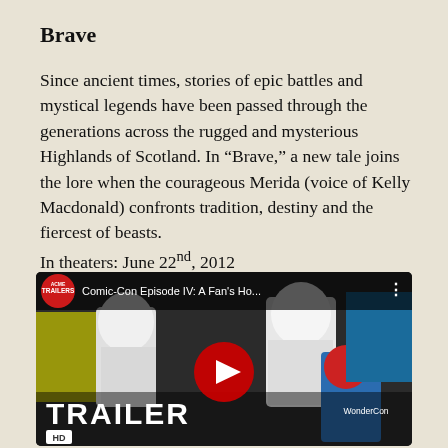Brave
Since ancient times, stories of epic battles and mystical legends have been passed through the generations across the rugged and mysterious Highlands of Scotland. In “Brave,” a new tale joins the lore when the courageous Merida (voice of Kelly Macdonald) confronts tradition, destiny and the fiercest of beasts.
In theaters: June 22nd, 2012
[Figure (screenshot): YouTube video thumbnail showing stormtroopers at Comic-Con with title 'Comic-Con Episode IV: A Fan's Ho...' and a red YouTube play button, with 'TRAILER HD' text overlay and WonderCon logo visible]